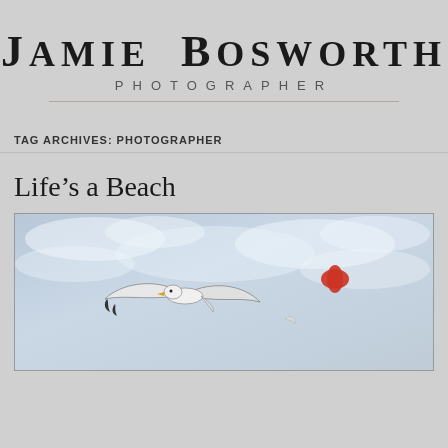Jamie Bosworth Photographer
TAG ARCHIVES: PHOTOGRAPHER
Life's a Beach
[Figure (photo): A seagull in flight against a cloudy blue-grey sky, with a small red object visible to the right]